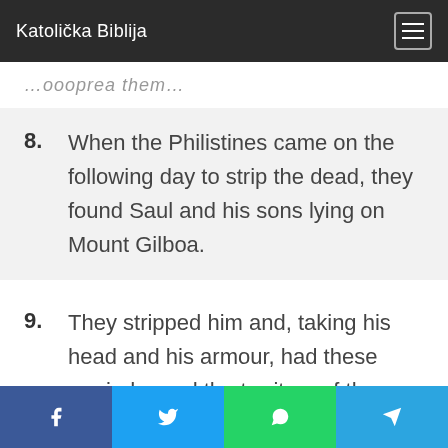Katolička Biblija
…oooprea them…
8. When the Philistines came on the following day to strip the dead, they found Saul and his sons lying on Mount Gilboa.
9. They stripped him and, taking his head and his armour, had these carried round the territory of the Philistines to proclaim the good news to their idols and their people.
Facebook Twitter WhatsApp Telegram